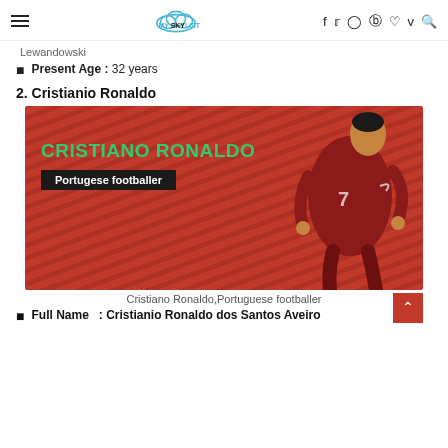MYSKYLIST
Lewandowski
Present Age : 32 years
2. Cristianio Ronaldo
[Figure (photo): Cristiano Ronaldo in Portuguese football kit number 7 on a red background with text 'CRISTIANO RONALDO' in green and 'Portugese footballer' in white on dark banner]
Cristiano Ronaldo,Portuguese footballer
Full Name : Cristianio Ronaldo dos Santos Aveiro